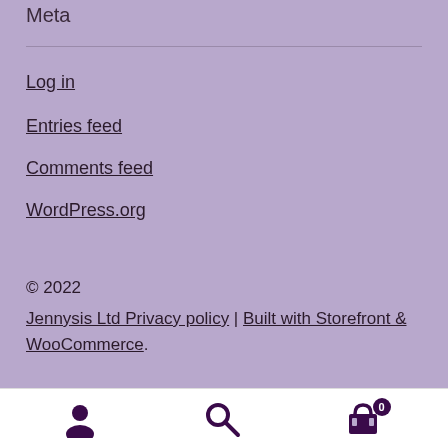Meta
Log in
Entries feed
Comments feed
WordPress.org
© 2022
Jennysis Ltd Privacy policy | Built with Storefront & WooCommerce.
[Figure (other): Bottom navigation bar with user account icon, search icon, and shopping cart icon with badge showing 0]